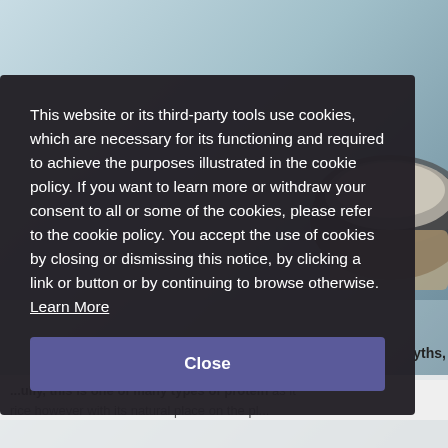[Figure (photo): Background photo of a bowl of rice or similar food on a light blue/grey surface, partially visible behind cookie consent overlay]
This website or its third-party tools use cookies, which are necessary for its functioning and required to achieve the purposes illustrated in the cookie policy. If you want to learn more or withdraw your consent to all or some of the cookies, please refer to the cookie policy. You accept the use of cookies by closing or dismissing this notice, by clicking a link or button or by continuing to browse otherwise. Learn More
Close
yths,
as it